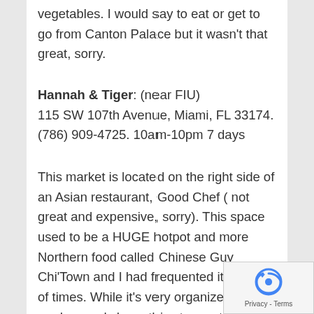vegetables. I would say to eat or get to go from Canton Palace but it wasn't that great, sorry.
Hannah & Tiger: (near FIU)
115 SW 107th Avenue, Miami, FL 33174. (786) 909-4725. 10am-10pm 7 days
This market is located on the right side of an Asian restaurant, Good Chef ( not great and expensive, sorry). This space used to be a HUGE hotpot and more Northern food called Chinese Guy Chi'Town and I had frequented it a couple of times. While it's very organized, modern and clean, this store caters to young, university students with money to spend on ready packaged foods and beverages. Small selection of